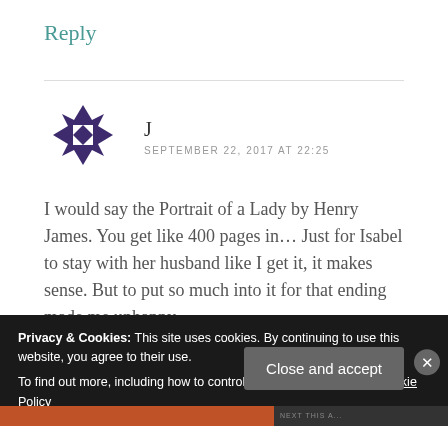Reply
[Figure (illustration): Decorative avatar icon: geometric star/snowflake pattern in dark purple/indigo on white background]
J
SEPTEMBER 22, 2017 AT 22:25
I would say the Portrait of a Lady by Henry James. You get like 400 pages in... Just for Isabel to stay with her husband like I get it, it makes sense. But to put so much into it for that ending made me unhappy
Privacy & Cookies: This site uses cookies. By continuing to use this website, you agree to their use.
To find out more, including how to control cookies, see here: Our Cookie Policy
Close and accept